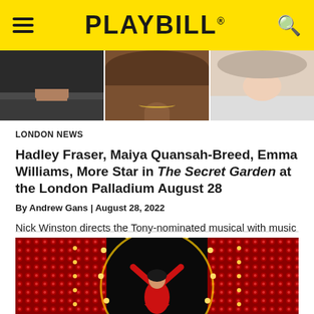PLAYBILL
[Figure (photo): Three performers shown from shoulders/neck up: left person in dark tank top, middle person with necklace and curly hair, right person in light jacket]
LONDON NEWS
Hadley Fraser, Maiya Quansah-Breed, Emma Williams, More Star in The Secret Garden at the London Palladium August 28
By Andrew Gans | August 28, 2022
Nick Winston directs the Tony-nominated musical with music direction by Adam Hoskins.
[Figure (photo): Performer in red sequined dress with arms raised triumphantly on stage with red sequined curtain backdrop and circular marquee lights]